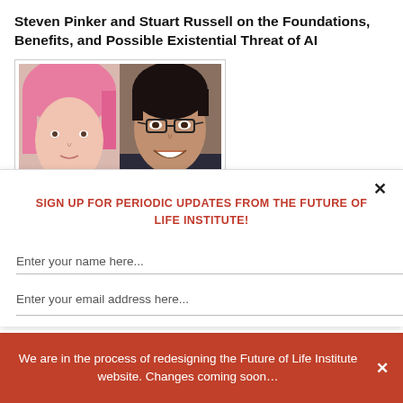Steven Pinker and Stuart Russell on the Foundations, Benefits, and Possible Existential Threat of AI
[Figure (photo): Two side-by-side headshots: on the left, a person with pink hair; on the right, a person with dark hair and glasses smiling]
SIGN UP FOR PERIODIC UPDATES FROM THE FUTURE OF LIFE INSTITUTE!
Enter your name here...
Enter your email address here...
We are in the process of redesigning the Future of Life Institute website. Changes coming soon…